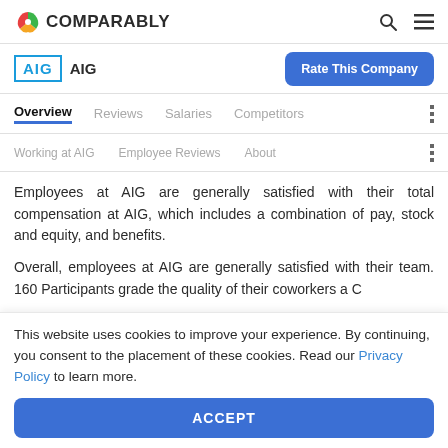COMPARABLY
AIG
Rate This Company
Overview | Reviews | Salaries | Competitors
Working at AIG | Employee Reviews | About
Employees at AIG are generally satisfied with their total compensation at AIG, which includes a combination of pay, stock and equity, and benefits.
Overall, employees at AIG are generally satisfied with their team. 160 Participants grade the quality of their coworkers a C
This website uses cookies to improve your experience. By continuing, you consent to the placement of these cookies. Read our Privacy Policy to learn more.
ACCEPT